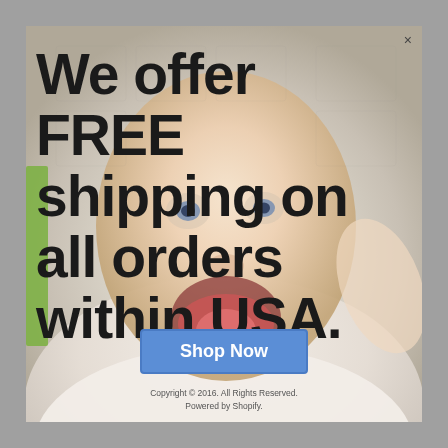[Figure (photo): Background photo of a smiling baby laying on white surface, overlaid with a promotional popup modal offering free shipping]
We offer FREE shipping on all orders within USA.
Shop Now
Copyright © 2016. All Rights Reserved. Powered by Shopify.